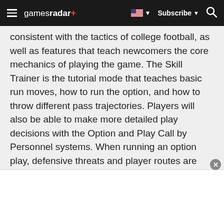gamesradar+ | Subscribe | Search
consistent with the tactics of college football, as well as features that teach newcomers the core mechanics of playing the game. The Skill Trainer is the tutorial mode that teaches basic run moves, how to run the option, and how to throw different pass trajectories. Players will also be able to make more detailed play decisions with the Option and Play Call by Personnel systems. When running an option play, defensive threats and player routes are highlighted, giving you visual cues that will help you make the split-second pitch or run decisions easily. The Play Call by Personnel system eliminates the random play